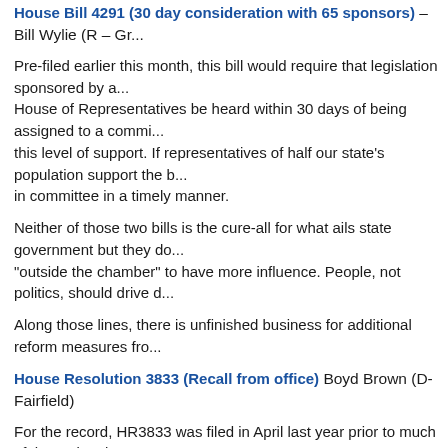House Bill 4291 (30 day consideration with 65 sponsors) – Bill Wylie (R – Gr...
Pre-filed earlier this month, this bill would require that legislation sponsored by at... House of Representatives be heard within 30 days of being assigned to a commi... this level of support. If representatives of half our state's population support the b... in committee in a timely manner.
Neither of those two bills is the cure-all for what ails state government but they do... "outside the chamber" to have more influence. People, not politics, should drive d...
Along those lines, there is unfinished business for additional reform measures fro...
House Resolution 3833 (Recall from office) Boyd Brown (D- Fairfield)
For the record, HR3833 was filed in April last year prior to much of the national a... propose we take this a step further and allow the people of our state to remove A... officials) and also include judges as well. Along with the ability to remove judges ... 4119 which would change the way judges are appointed in our state. This bill doe... but I do believe it helps create more of a check-and-balance in state government... "bad judges" would help should the need arise during the course of a term. Prese... for re-election before (in essence) removing a judge.
House Bill 3166 (Campaign Disclosure Reform)
One of my primary bills last year is still in Judiciary Subcommittee and must be pa... requires many more officials and candidates to file campaign reports online – whe... ...